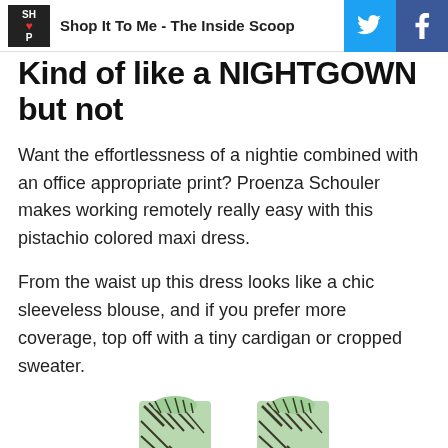Shop It To Me - The Inside Scoop
Kind of like a NIGHTGOWN but not
Want the effortlessness of a nightie combined with an office appropriate print? Proenza Schouler makes working remotely really easy with this pistachio colored maxi dress.
From the waist up this dress looks like a chic sleeveless blouse, and if you prefer more coverage, top off with a tiny cardigan or cropped sweater.
[Figure (photo): Bottom portion of a pistachio green patterned maxi dress with black print design, showing the upper shoulder/strap area of the garment]